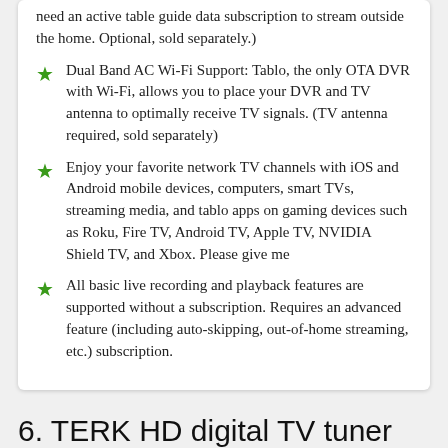need an active table guide data subscription to stream outside the home. Optional, sold separately.)
Dual Band AC Wi-Fi Support: Tablo, the only OTA DVR with Wi-Fi, allows you to place your DVR and TV antenna to optimally receive TV signals. (TV antenna required, sold separately)
Enjoy your favorite network TV channels with iOS and Android mobile devices, computers, smart TVs, streaming media, and tablo apps on gaming devices such as Roku, Fire TV, Android TV, Apple TV, NVIDIA Shield TV, and Xbox. Please give me
All basic live recording and playback features are supported without a subscription. Requires an advanced feature (including auto-skipping, out-of-home streaming, etc.) subscription.
6. TERK HD digital TV tuner with DVR function